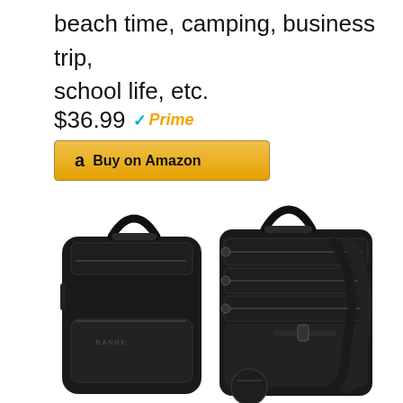beach time, camping, business trip, school life, etc.
$36.99 ✓Prime
[Figure (other): Amazon Buy on Amazon button with Amazon logo]
[Figure (photo): Product photo of a black BANGE brand backpack shown from front and side angles, featuring multiple compartments, carry handle, shoulder straps, and zipper details]